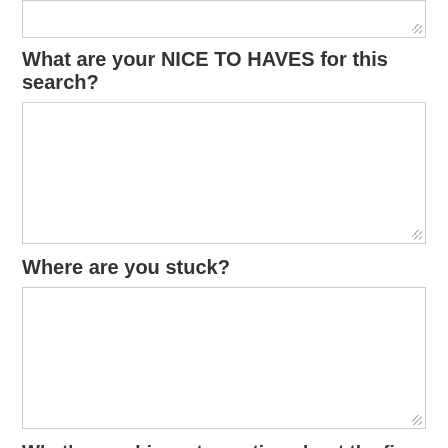[Figure (other): Top partial textarea (bottom portion visible), empty input box]
What are your NICE TO HAVES for this search?
[Figure (other): Empty textarea input box for nice to haves answer]
Where are you stuck?
[Figure (other): Empty textarea input box for where are you stuck answer]
What's your biggest question about the five factors and how they will play out as your search progresses?
[Figure (other): Partial top of another empty textarea input box]